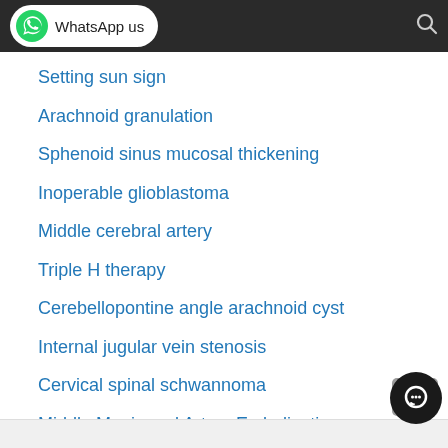[Figure (screenshot): Mobile app header with WhatsApp us button (green WhatsApp icon, white pill-shaped button) on dark background, and a search icon on the right]
Setting sun sign
Arachnoid granulation
Sphenoid sinus mucosal thickening
Inoperable glioblastoma
Middle cerebral artery
Triple H therapy
Cerebellopontine angle arachnoid cyst
Internal jugular vein stenosis
Cervical spinal schwannoma
Middle Meningeal Artery Embolization